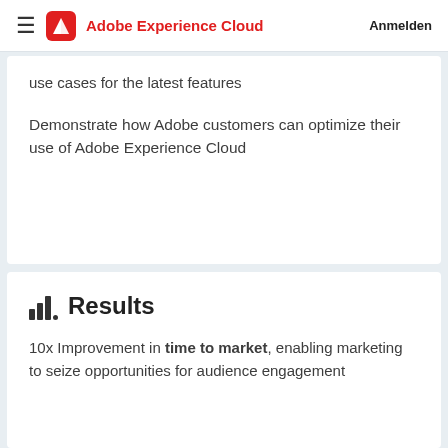Adobe Experience Cloud | Anmelden
use cases for the latest features
Demonstrate how Adobe customers can optimize their use of Adobe Experience Cloud
Results
10x Improvement in time to market, enabling marketing to seize opportunities for audience engagement